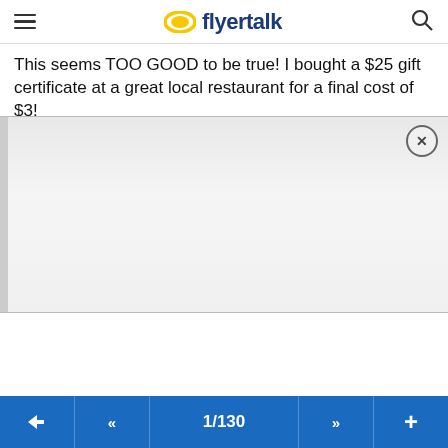flyertalk
This seems TOO GOOD to be true! I bought a $25 gift certificate at a great local restaurant for a final cost of $3! How can this be? I hope there won't be any nasty surprise
[Figure (screenshot): Advertisement overlay with close button (X) and left gray bar]
P.S. Be careful on the checkout at retaurant.com. I almost clicked "yes" for a $9.95 monthly charge to my credit card for some home care thingee.
Reply
1/130